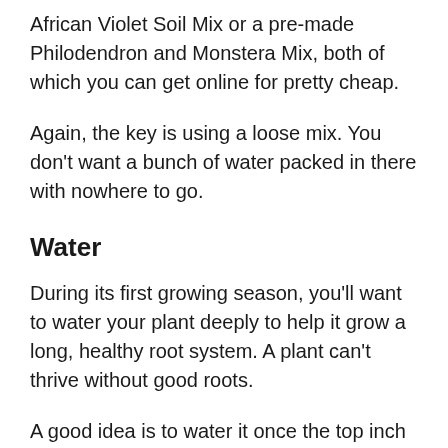African Violet Soil Mix or a pre-made Philodendron and Monstera Mix, both of which you can get online for pretty cheap.
Again, the key is using a loose mix. You don't want a bunch of water packed in there with nowhere to go.
Water
During its first growing season, you'll want to water your plant deeply to help it grow a long, healthy root system. A plant can't thrive without good roots.
A good idea is to water it once the top inch